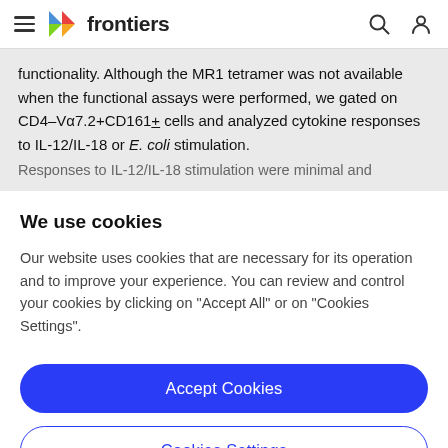frontiers
functionality. Although the MR1 tetramer was not available when the functional assays were performed, we gated on CD4–Vα7.2+CD161+ cells and analyzed cytokine responses to IL-12/IL-18 or E. coli stimulation. Responses to IL-12/IL-18 stimulation were minimal and
We use cookies
Our website uses cookies that are necessary for its operation and to improve your experience. You can review and control your cookies by clicking on "Accept All" or on "Cookies Settings".
Accept Cookies
Cookies Settings